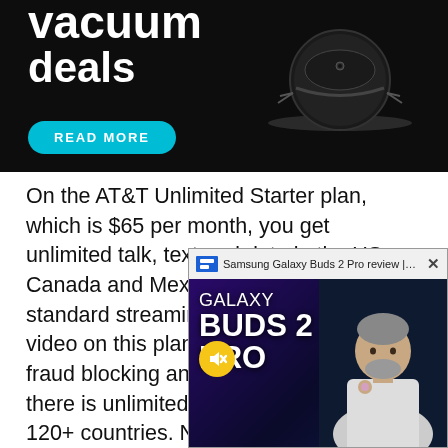[Figure (photo): Advertisement banner with dark background showing text 'vacuum deals' and a robot vacuum cleaner image, with a cyan 'READ MORE' button]
On the AT&T Unlimited Starter plan, which is $65 per month, you get unlimited talk, text and data in the US, Canada and Mexico. You also get standard streaming video – so no 4K video on this plan. As well as automatic fraud blocking and spam risk, finally there is unlimited texting from the US to 120+ countries. Now the A[T&T Unlimited Extra is $75 per] month, and it include[s 15GB of high speed mobile] hotspot per line, 5G A[ccess but throttle data] until you hit 50GB of d[ata. Finally, the AT&T] Unlimited Elite packa[ge is $85 per month and] everything in the Unli[mited Extra tier] the data usage to 10[0GB]
[Figure (screenshot): Video popup overlay showing 'Samsung Galaxy Buds 2 Pro review | Gr...' with a Galaxy Buds 2 Pro promotional image and a person holding the earbuds]